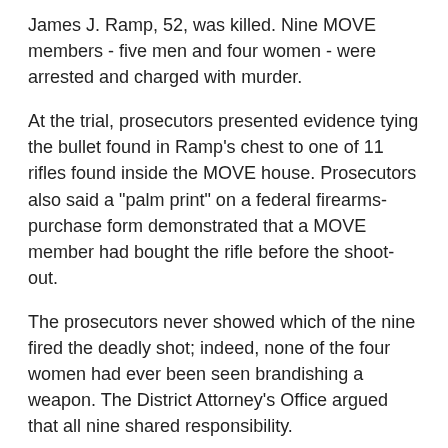James J. Ramp, 52, was killed. Nine MOVE members - five men and four women - were arrested and charged with murder.
At the trial, prosecutors presented evidence tying the bullet found in Ramp's chest to one of 11 rifles found inside the MOVE house. Prosecutors also said a "palm print" on a federal firearms-purchase form demonstrated that a MOVE member had bought the rifle before the shoot-out.
The prosecutors never showed which of the nine fired the deadly shot; indeed, none of the four women had ever been seen brandishing a weapon. The District Attorney's Office argued that all nine shared responsibility.
Judge Edwin S. Malmed agreed. Without a jury, he found all defendants guilty and sentenced them to 30 to 100 years apiece, triple the typical Pennsylvania sentence for third-degree murder. They are still behind bars.
"They have repeatedly shouted they were a family and that they act in concert," the judge said. "I have therefore treated